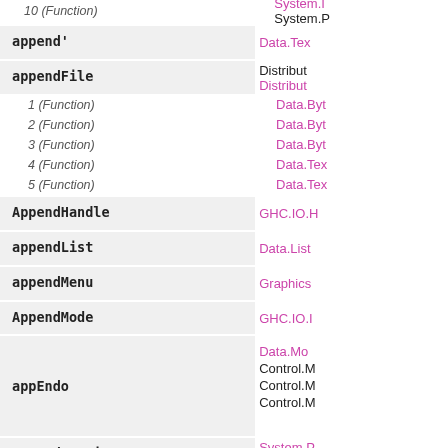10 (Function)
System.P
append'
Data.Tex
appendFile
Distribut
Distribut
1 (Function)
Data.Byt
2 (Function)
Data.Byt
3 (Function)
Data.Tex
4 (Function)
Data.Tex
5 (Function)
AppendHandle
GHC.IO.H
appendList
Data.List
appendMenu
Graphics
AppendMode
GHC.IO.I
appEndo
Data.Mo
Control.M
Control.M
Control.M
AppendOnWrite
System.P
System.P